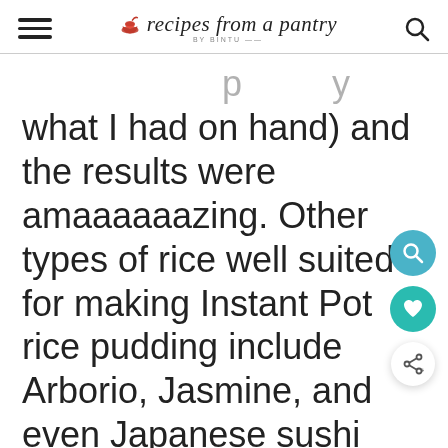recipes from a pantry BY BINTU
what I had on hand) and the results were amaaaaaazing. Other types of rice well suited for making Instant Pot rice pudding include Arborio, Jasmine, and even Japanese sushi rice or Thai sticky rice.